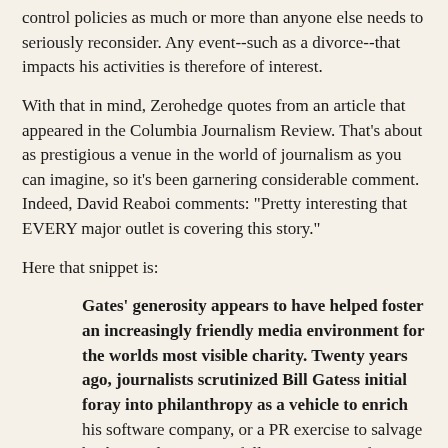control policies as much or more than anyone else needs to seriously reconsider. Any event--such as a divorce--that impacts his activities is therefore of interest.
With that in mind, Zerohedge quotes from an article that appeared in the Columbia Journalism Review. That's about as prestigious a venue in the world of journalism as you can imagine, so it's been garnering considerable comment. Indeed, David Reaboi comments: "Pretty interesting that EVERY major outlet is covering this story."
Here that snippet is:
Gates' generosity appears to have helped foster an increasingly friendly media environment for the worlds most visible charity. Twenty years ago, journalists scrutinized Bill Gatess initial foray into philanthropy as a vehicle to enrich his software company, or a PR exercise to salvage his battered reputation following Microsofts bruising antitrust battle with the Department of Justice. Today, the foundation is most often the subject of soft profiles